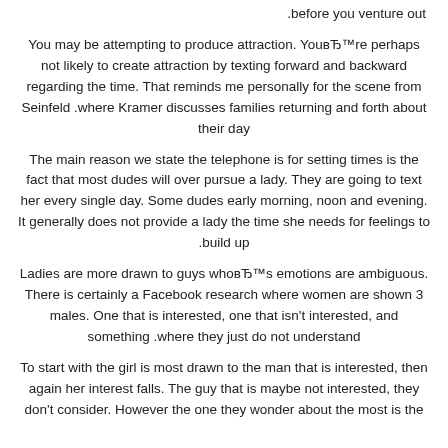.before you venture out
You may be attempting to produce attraction. You're perhaps not likely to create attraction by texting forward and backward regarding the time. That reminds me personally for the scene from Seinfeld .where Kramer discusses families returning and forth about their day
The main reason we state the telephone is for setting times is the fact that most dudes will over pursue a lady. They are going to text her every single day. Some dudes early morning, noon and evening. It generally does not provide a lady the time she needs for feelings to .build up
Ladies are more drawn to guys who's emotions are ambiguous. There is certainly a Facebook research where women are shown 3 males. One that is interested, one that isn't interested, and something .where they just do not understand
To start with the girl is most drawn to the man that is interested, then again her interest falls. The guy that is maybe not interested, they don't consider. However the one they wonder about the most is the